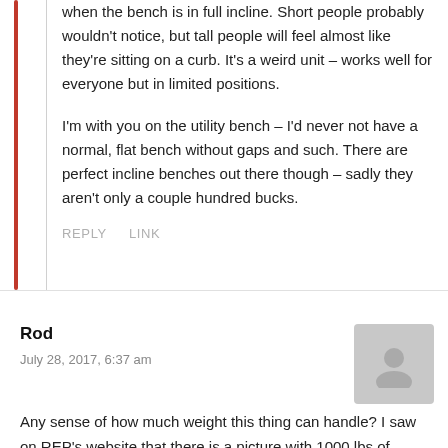when the bench is in full incline. Short people probably wouldn't notice, but tall people will feel almost like they're sitting on a curb. It's a weird unit – works well for everyone but in limited positions.
I'm with you on the utility bench – I'd never not have a normal, flat bench without gaps and such. There are perfect incline benches out there though – sadly they aren't only a couple hundred bucks.
REPLY   LINK
Rod
July 28, 2017, 6:37 am
Any sense of how much weight this thing can handle? I saw on REP's website that there is a picture with 1000 lbs of plates sitting directly on the bench, so I'm assuming that it can handle 1000 lbs